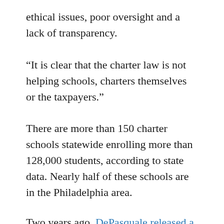ethical issues, poor oversight and a lack of transparency.
“It is clear that the charter law is not helping schools, charters themselves or the taxpayers.”
There are more than 150 charter schools statewide enrolling more than 128,000 students, according to state data. Nearly half of these schools are in the Philadelphia area.
Two years ago, DePasquale released a set of specific recommendations to improve the charter law, which Brewster drew up as when